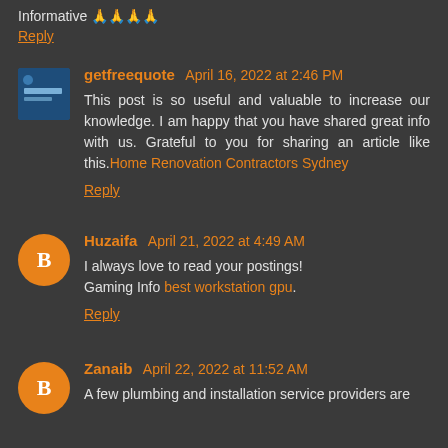Informative 🙏🙏🙏🙏
Reply
getfreequote  April 16, 2022 at 2:46 PM
This post is so useful and valuable to increase our knowledge. I am happy that you have shared great info with us. Grateful to you for sharing an article like this.Home Renovation Contractors Sydney
Reply
Huzaifa  April 21, 2022 at 4:49 AM
I always love to read your postings!
Gaming Info best workstation gpu.
Reply
Zanaib  April 22, 2022 at 11:52 AM
A few plumbing and installation service providers are